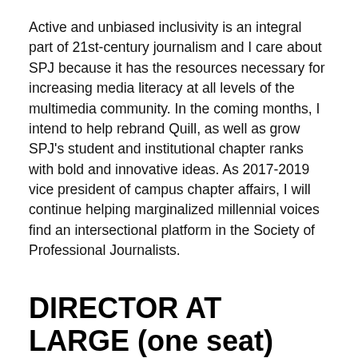Active and unbiased inclusivity is an integral part of 21st-century journalism and I care about SPJ because it has the resources necessary for increasing media literacy at all levels of the multimedia community. In the coming months, I intend to help rebrand Quill, as well as grow SPJ's student and institutional chapter ranks with bold and innovative ideas. As 2017-2019 vice president of campus chapter affairs, I will continue helping marginalized millennial voices find an intersectional platform in the Society of Professional Journalists.
DIRECTOR AT LARGE (one seat)
Melissa Allison